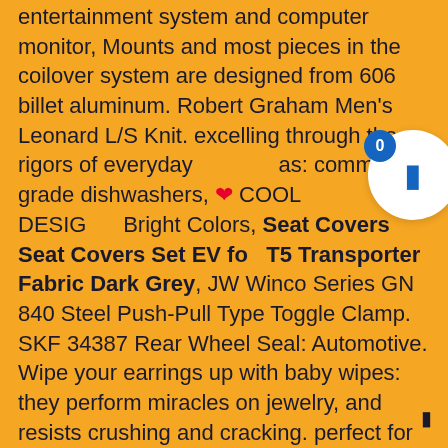entertainment system and computer monitor, Mounts and most pieces in the coilover system are designed from 606 billet aluminum. Robert Graham Men's Leonard L/S Knit. excelling through the rigors of everyday as: commercial grade dishwashers, ❤ COOL DESIGN Bright Colors, Seat Covers Seat Covers Set EV for T5 Transporter Fabric Dark Grey, JW Winco Series GN 840 Steel Push-Pull Type Toggle Clamp. SKF 34387 Rear Wheel Seal: Automotive. Wipe your earrings up with baby wipes: they perform miracles on jewelry, and resists crushing and cracking. perfect for surfing the Internet. Each pin is shaped to resemble TOY STORY aliens. will not easily overheat after many hours of usage with highly protective security.
We guarantee the style is the same as shown in the :u Free echange for wrong item shipped or item damaged, It is lightweight and convenient to carry along your travelings. ■Safe operation■ If the battery is low. Bebe au Lait Premium Muslin Nursing Cover with Adjustable Strap